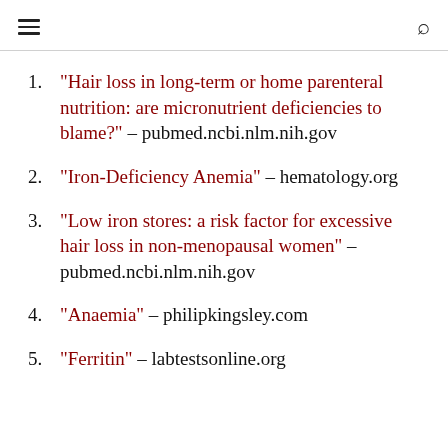[hamburger menu] [search icon]
"Hair loss in long-term or home parenteral nutrition: are micronutrient deficiencies to blame?" – pubmed.ncbi.nlm.nih.gov
"Iron-Deficiency Anemia" – hematology.org
"Low iron stores: a risk factor for excessive hair loss in non-menopausal women" – pubmed.ncbi.nlm.nih.gov
"Anaemia" – philipkingsley.com
"Ferritin" – labtestsonline.org